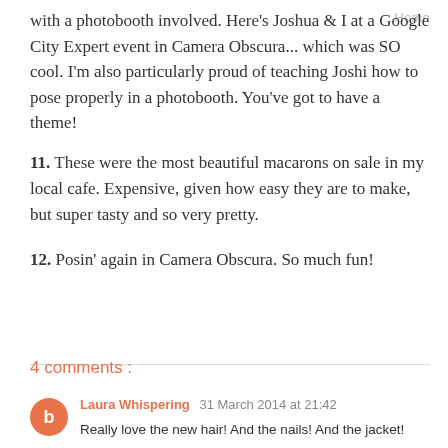Home
with a photobooth involved. Here's Joshua & I at a Google City Expert event in Camera Obscura... which was SO cool. I'm also particularly proud of teaching Joshi how to pose properly in a photobooth. You've got to have a theme!
11. These were the most beautiful macarons on sale in my local cafe. Expensive, given how easy they are to make, but super tasty and so very pretty.
12. Posin' again in Camera Obscura. So much fun!
4 comments :
Laura Whispering 31 March 2014 at 21:42
Really love the new hair! And the nails! And the jacket!

(So basically just your life then..)